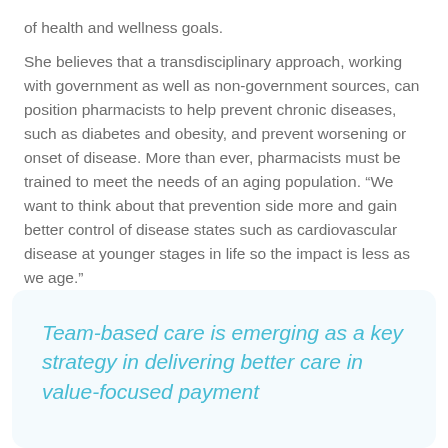of health and wellness goals.
She believes that a transdisciplinary approach, working with government as well as non-government sources, can position pharmacists to help prevent chronic diseases, such as diabetes and obesity, and prevent worsening or onset of disease. More than ever, pharmacists must be trained to meet the needs of an aging population. “We want to think about that prevention side more and gain better control of disease states such as cardiovascular disease at younger stages in life so the impact is less as we age.”
Team-based care is emerging as a key strategy in delivering better care in value-focused payment